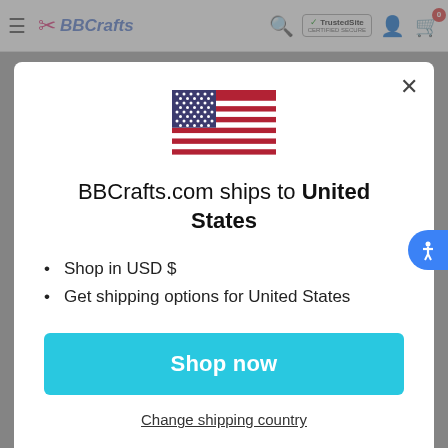BBCrafts — TrustedSite CERTIFIED SECURE — Search — Account — Cart 0
[Figure (illustration): US flag SVG illustration]
BBCrafts.com ships to United States
Shop in USD $
Get shipping options for United States
Shop now
Change shipping country
Most DIY crafts use home items you undoubtedly have on hand.
For a large rectangular or round table, you can create some